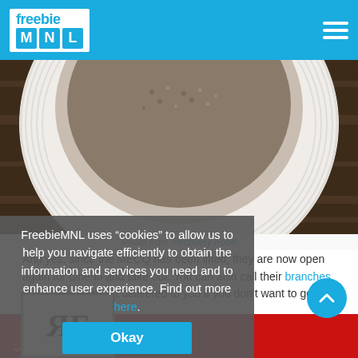freebie MNL
[Figure (photo): Close-up photo of a white ceramic bowl with food (grain/seeds), on a wooden surface]
Photo from Recovery Food
And yes, since the MECQ has been lifted, they are now open again for dine-in and take out. You can also call their branches to order and have it delivered to you if you don't want to go out.
FreebieMNL uses “cookies” to allow us to help you navigate efficiently to obtain the information and services you need and to enhance user experience. Find out more here.
[Figure (logo): Recovery Food logo - RF letters with decorative style on red background]